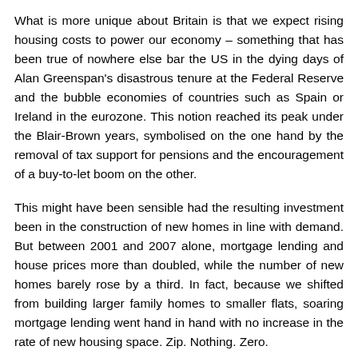What is more unique about Britain is that we expect rising housing costs to power our economy – something that has been true of nowhere else bar the US in the dying days of Alan Greenspan's disastrous tenure at the Federal Reserve and the bubble economies of countries such as Spain or Ireland in the eurozone. This notion reached its peak under the Blair-Brown years, symbolised on the one hand by the removal of tax support for pensions and the encouragement of a buy-to-let boom on the other.
This might have been sensible had the resulting investment been in the construction of new homes in line with demand. But between 2001 and 2007 alone, mortgage lending and house prices more than doubled, while the number of new homes barely rose by a third. In fact, because we shifted from building larger family homes to smaller flats, soaring mortgage lending went hand in hand with no increase in the rate of new housing space. Zip. Nothing. Zero.
The entire British economy became built around servicing ever-